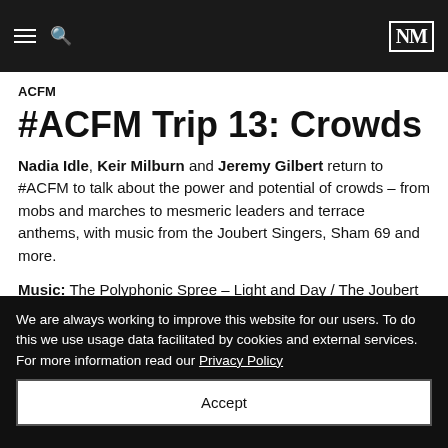ACFM [navigation] NM logo
ACFM
#ACFM Trip 13: Crowds
Nadia Idle, Keir Milburn and Jeremy Gilbert return to #ACFM to talk about the power and potential of crowds – from mobs and marches to mesmeric leaders and terrace anthems, with music from the Joubert Singers, Sham 69 and more.
Music: The Polyphonic Spree – Light and Day / The Joubert Singers – Stand On The Word / Pink Floyd – Fearless / Sham
We are always working to improve this website for our users. To do this we use usage data facilitated by cookies and external services. For more information read our Privacy Policy
Accept